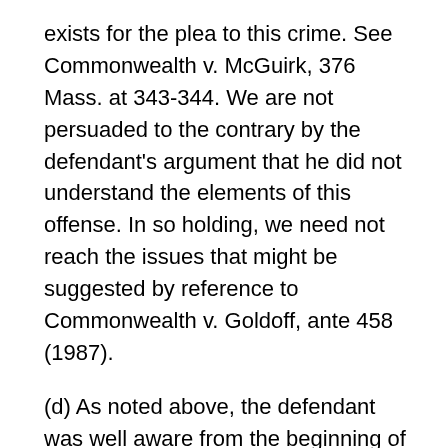exists for the plea to this crime. See Commonwealth v. McGuirk, 376 Mass. at 343-344. We are not persuaded to the contrary by the defendant's argument that he did not understand the elements of this offense. In so holding, we need not reach the issues that might be suggested by reference to Commonwealth v. Goldoff, ante 458 (1987).
(d) As noted above, the defendant was well aware from the beginning of his case that his only hope lay in prevailing on his motion to suppress, and that he otherwise had no defense. We see no merit in his rather novel contention that even if the pleas satisfied the requirements of Henderson v. Morgan, 426 U.S. 637 (1976), and Commonwealth v. McGuirk, supra, they were nonetheless involuntary because he was not